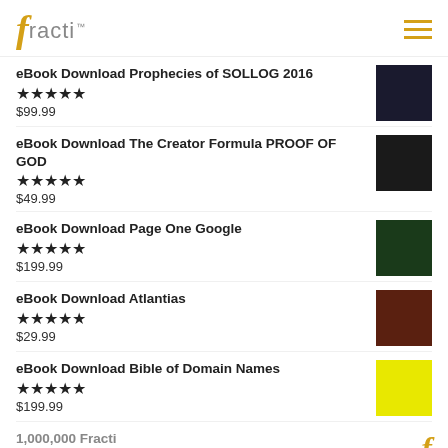fracti
eBook Download Prophecies of SOLLOG 2016
★★★★★
$99.99
eBook Download The Creator Formula PROOF OF GOD
★★★★★
$49.99
eBook Download Page One Google
★★★★★
$199.99
eBook Download Atlantias
★★★★★
$29.99
eBook Download Bible of Domain Names
★★★★★
$199.99
1,000,000 Fracti
$1,000,000.00